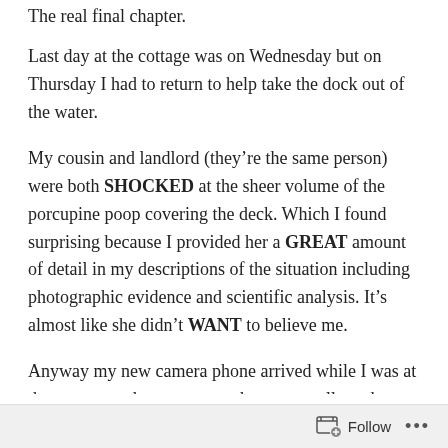The real final chapter.
Last day at the cottage was on Wednesday but on Thursday I had to return to help take the dock out of the water.
My cousin and landlord (they’re the same person) were both SHOCKED at the sheer volume of the porcupine poop covering the deck. Which I found surprising because I provided her a GREAT amount of detail in my descriptions of the situation including photographic evidence and scientific analysis. It’s almost like she didn’t WANT to believe me.
Anyway my new camera phone arrived while I was at the cottage and my return to the cottage allowed me to use it to capture some proper images of Bernadotte.
Follow •••